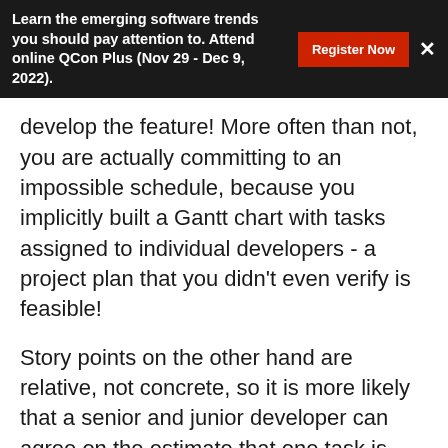Learn the emerging software trends you should pay attention to. Attend online QCon Plus (Nov 29 - Dec 9, 2022).
develop the feature! More often than not, you are actually committing to an impossible schedule, because you implicitly built a Gantt chart with tasks assigned to individual developers - a project plan that you didn't even verify is feasible!
Story points on the other hand are relative, not concrete, so it is more likely that a senior and junior developer can agree on the estimate that one task is twice as difficult than the next, even if the same tasks will take four times more for the junior to develop.
The team then, as a whole can commit to the amount of SPs that they empirically proved to be capable of handling.